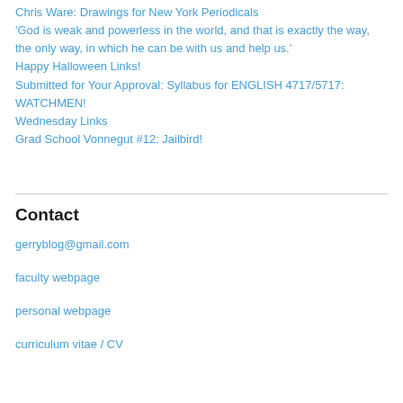Chris Ware: Drawings for New York Periodicals
'God is weak and powerless in the world, and that is exactly the way, the only way, in which he can be with us and help us.'
Happy Halloween Links!
Submitted for Your Approval: Syllabus for ENGLISH 4717/5717: WATCHMEN!
Wednesday Links
Grad School Vonnegut #12: Jailbird!
Contact
gerryblog@gmail.com
faculty webpage
personal webpage
curriculum vitae / CV